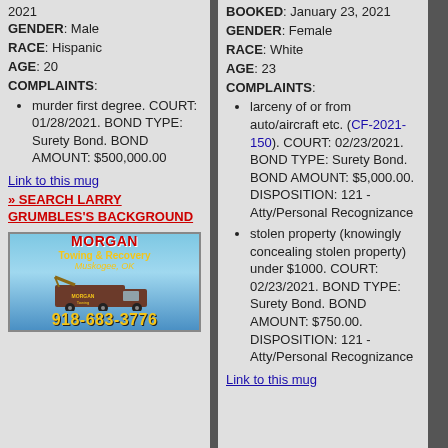2021
GENDER: Male
RACE: Hispanic
AGE: 20
COMPLAINTS:
murder first degree. COURT: 01/28/2021. BOND TYPE: Surety Bond. BOND AMOUNT: $500,000.00
Link to this mug
» SEARCH LARRY GRUMBLES'S BACKGROUND
[Figure (photo): Advertisement for Morgan Towing & Recovery, Muskogee, OK. Shows a tow truck with phone number 918-683-3776.]
BOOKED: January 23, 2021
GENDER: Female
RACE: White
AGE: 23
COMPLAINTS:
larceny of or from auto/aircraft etc. (CF-2021-150). COURT: 02/23/2021. BOND TYPE: Surety Bond. BOND AMOUNT: $5,000.00. DISPOSITION: 121 - Atty/Personal Recognizance
stolen property (knowingly concealing stolen property) under $1000. COURT: 02/23/2021. BOND TYPE: Surety Bond. BOND AMOUNT: $750.00. DISPOSITION: 121 - Atty/Personal Recognizance
Link to this mug